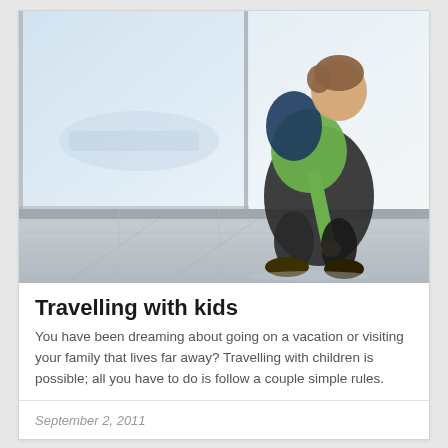[Figure (photo): A young boy wearing a green shirt and dark overalls with a blue backpack, crouching down on a tiled airport floor near large windows with an airplane visible outside.]
Travelling with kids
You have been dreaming about going on a vacation or visiting your family that lives far away? Travelling with children is possible; all you have to do is follow a couple simple rules.
September 2, 2011